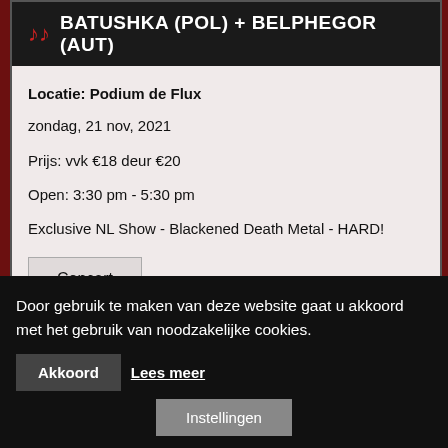BATUSHKA (POL) + BELPHEGOR (AUT)
Locatie: Podium de Flux
zondag, 21 nov, 2021
Prijs: vvk €18 deur €20
Open: 3:30 pm - 5:30 pm
Exclusive NL Show - Blackened Death Metal - HARD!
Concert
Door gebruik te maken van deze website gaat u akkoord met het gebruik van noodzakelijke cookies.
Akkoord
Lees meer
Instellingen